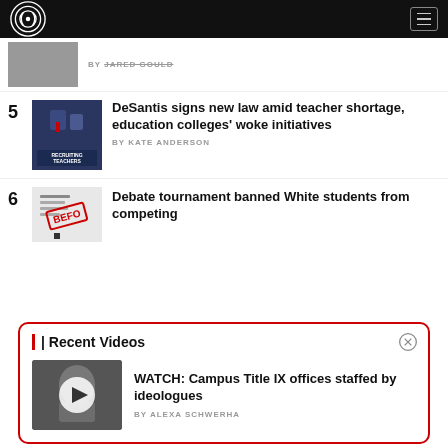Campus Reform logo and navigation
BY JARED GOULD
DeSantis signs new law amid teacher shortage, education colleges' woke initiatives
BY KATE ANDERSON
Debate tournament banned White students from competing
| Recent Videos
WATCH: Campus Title IX offices staffed by ideologues
BY ALEXA SCHWERHA